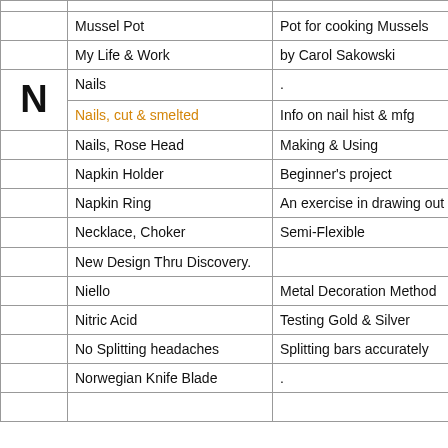|  | Title | Description | Type |
| --- | --- | --- | --- |
|  |  |  |  |
|  | Mussel Pot | Pot for cooking Mussels | . |
|  | My Life & Work | by Carol Sakowski | Essay |
| N | Nails | . | Howto |
|  | Nails, cut & smelted | Info on nail hist & mfg | info,HT |
|  | Nails, Rose Head | Making & Using | Howto |
|  | Napkin Holder | Beginner's project | . |
|  | Napkin Ring | An exercise in drawing out | . |
|  | Necklace, Choker | Semi-Flexible | Howto |
|  | New Design Thru Discovery. |  | DesInf |
|  | Niello | Metal Decoration Method | Tutoria |
|  | Nitric Acid | Testing Gold & Silver | Howto |
|  | No Splitting headaches | Splitting bars accurately | Howto |
|  | Norwegian Knife Blade | . | Howto |
|  |  |  |  |